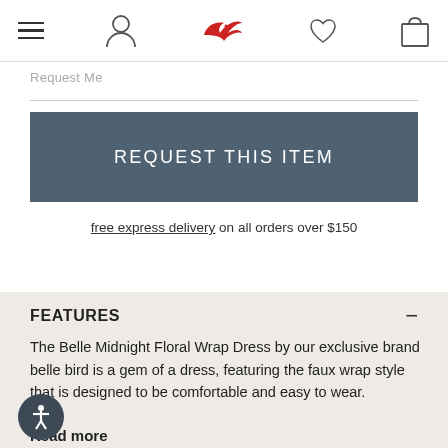Navigation bar with hamburger menu, user icon, bird logo, heart icon, bag icon
Request Me
REQUEST THIS ITEM
free express delivery on all orders over $150
FEATURES
The Belle Midnight Floral Wrap Dress by our exclusive brand belle bird is a gem of a dress, featuring the faux wrap style that is designed to be comfortable and easy to wear.
Read more